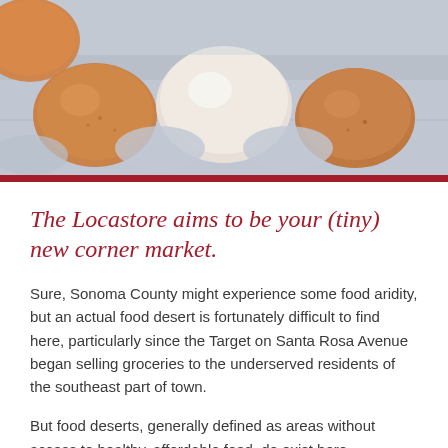[Figure (photo): Close-up photograph of brown and white eggs in a cardboard egg carton, with a light blue background visible.]
The Locastore aims to be your (tiny) new corner market.
Sure, Sonoma County might experience some food aridity, but an actual food desert is fortunately difficult to find here, particularly since the Target on Santa Rosa Avenue began selling groceries to the underserved residents of the southeast part of town.
But food deserts, generally defined as areas without access to healthy, affordable food, do exist here.